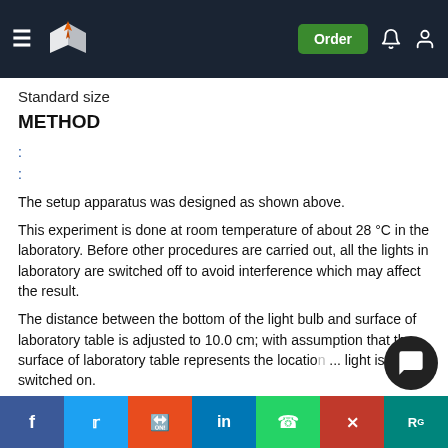Standard size
METHOD
:
:
The setup apparatus was designed as shown above.
This experiment is done at room temperature of about 28 °C in the laboratory. Before other procedures are carried out, all the lights in laboratory are switched off to avoid interference which may affect the result.
The distance between the bottom of the light bulb and surface of laboratory table is adjusted to 10.0 cm; with assumption that the surface of laboratory table represents the location ... light is switched on.